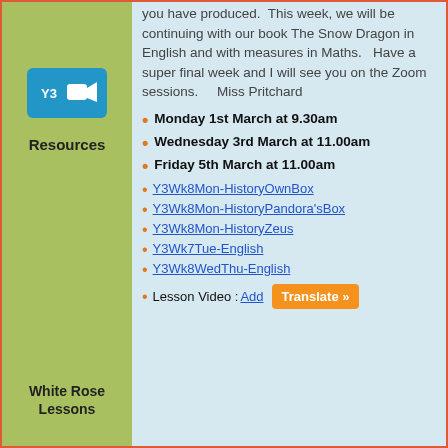you have produced.  This week, we will be continuing with our book The Snow Dragon in English and with measures in Maths.  Have a super final week and I will see you on the Zoom sessions.    Miss Pritchard
[Figure (other): Blue rounded rectangle icon with 'Y3' text and a video camera symbol, representing a Zoom session icon for Year 3]
Monday 1st March at 9.30am
Wednesday 3rd March at 11.00am
Friday 5th March at 11.00am
Resources
Y3Wk8Mon-HistoryOwnBox
Y3Wk8Mon-HistoryPandora'sBox
Y3Wk8Mon-HistoryZeus
Y3Wk7Tue-English
Y3Wk8WedThu-English
White Rose Lessons
Lesson Video : Add